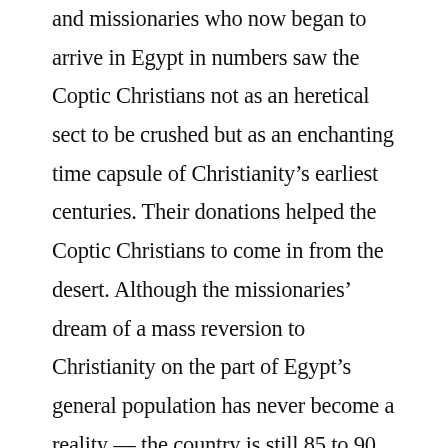and missionaries who now began to arrive in Egypt in numbers saw the Coptic Christians not as an heretical sect to be crushed but as an enchanting time capsule of Christianity's earliest centuries. Their donations helped the Coptic Christians to come in from the desert. Although the missionaries' dream of a mass reversion to Christianity on the part of Egypt's general population has never become a reality — the country is still 85 to 90 percent Muslim today — the spirit of religious tolerance introduced by Muhammad Ali has survived more or less consistently right to the present day, enough so to make Egypt the predominantly Muslim Middle Eastern country with the largest